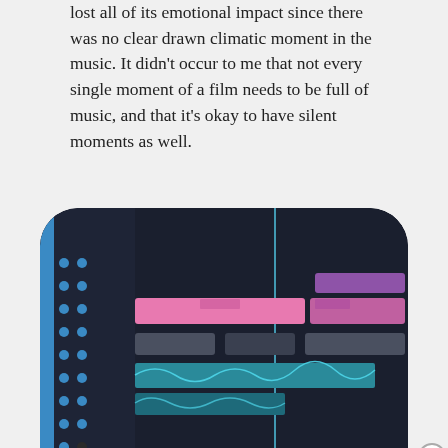lost all of its emotional impact since there was no clear drawn climatic moment in the music. It didn't occur to me that not every single moment of a film needs to be full of music, and that it's okay to have silent moments as well.
[Figure (screenshot): A digital audio workstation (DAW) screen showing multiple audio tracks with waveforms, colored clips (pink, blue, purple), and timeline interface on a dark background, displayed in a rounded rectangle frame.]
Advertisements
[Figure (other): DuckDuckGo advertisement banner with orange/red background. Left side shows text: 'Search, browse, and email with more privacy. All in One Free App'. Right side shows a smartphone with DuckDuckGo logo and branding.]